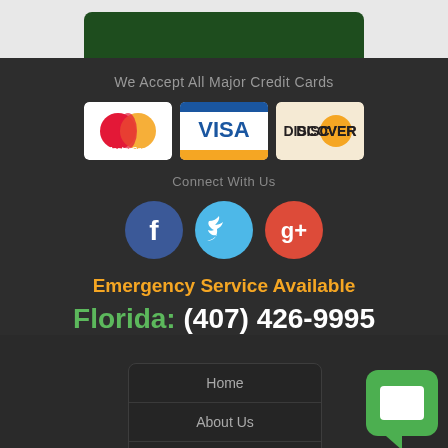[Figure (other): Dark green rounded rectangle partially visible at top]
We Accept All Major Credit Cards
[Figure (other): Three credit card logos: MasterCard, VISA, DISCOVER]
Connect With Us
[Figure (other): Social media icons: Facebook (f), Twitter (bird), Google+ (g+)]
Emergency Service Available
Florida: (407) 426-9995
Home
About Us
Blog
[Figure (other): Green chat bubble icon in bottom right corner]